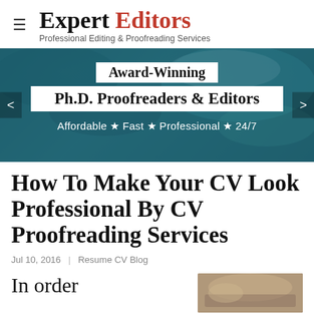Expert Editors — Professional Editing & Proofreading Services
[Figure (infographic): Banner advertisement for Expert Editors showing 'Award-Winning Ph.D. Proofreaders & Editors — Affordable ★ Fast ★ Professional ★ 24/7' over a dark teal background with hands on a laptop]
How To Make Your CV Look Professional By CV Proofreading Services
Jul 10, 2016  |  Resume CV Blog
In order